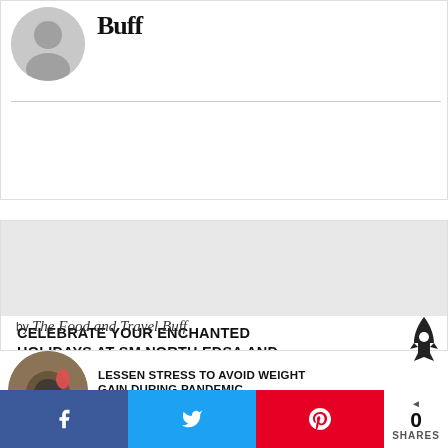[Figure (illustration): Circular avatar placeholder (gray silhouette) with site name 'Buff' in handwritten/bold script next to it]
CELEBRATE YOUR ENCHANTED HOLIDAYS AT SM NORTH EDSA AND SM MALL OF ASIA
by The Food and Travel Buff
[Figure (photo): Circular thumbnail photo of a scale/fitness equipment with an apple, representing health/weight loss article]
LESSEN STRESS TO AVOID WEIGHT GAIN DURING PANDEMIC
by The Food and Travel Buff
0 SHARES — Share on Facebook, Tweet on Twitter, Pin on Pinterest